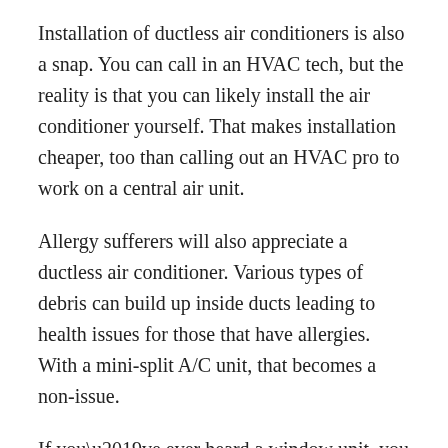Installation of ductless air conditioners is also a snap. You can call in an HVAC tech, but the reality is that you can likely install the air conditioner yourself. That makes installation cheaper, too than calling out an HVAC pro to work on a central air unit.
Allergy sufferers will also appreciate a ductless air conditioner. Various types of debris can build up inside ducts leading to health issues for those that have allergies. With a mini-split A/C unit, that becomes a non-issue.
If you’ve ever heard a window unit, you know that those types of air conditioners can be pretty loud when they’re running. Ductless air conditioners are exactly opposite and can operate almost entirely silently.